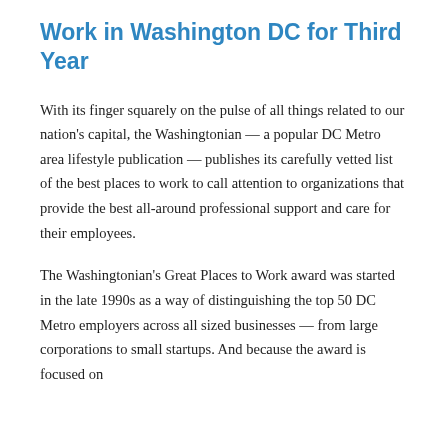Work in Washington DC for Third Year
With its finger squarely on the pulse of all things related to our nation's capital, the Washingtonian — a popular DC Metro area lifestyle publication — publishes its carefully vetted list of the best places to work to call attention to organizations that provide the best all-around professional support and care for their employees.
The Washingtonian's Great Places to Work award was started in the late 1990s as a way of distinguishing the top 50 DC Metro employers across all sized businesses — from large corporations to small startups. And because the award is focused on